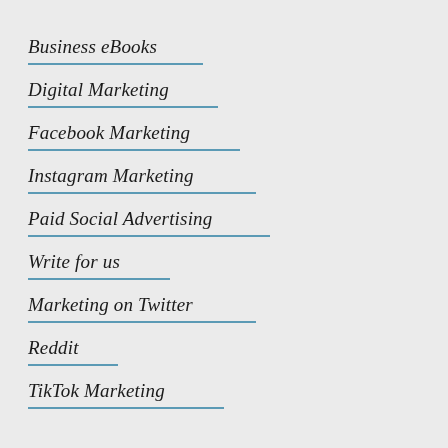Business eBooks
Digital Marketing
Facebook Marketing
Instagram Marketing
Paid Social Advertising
Write for us
Marketing on Twitter
Reddit
TikTok Marketing